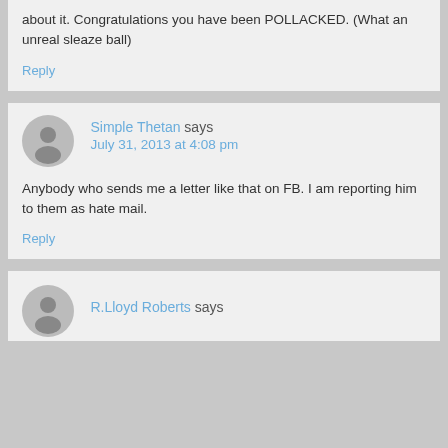about it. Congratulations you have been POLLACKED. (What an unreal sleaze ball)
Reply
Simple Thetan says
July 31, 2013 at 4:08 pm
Anybody who sends me a letter like that on FB. I am reporting him to them as hate mail.
Reply
R.Lloyd Roberts says